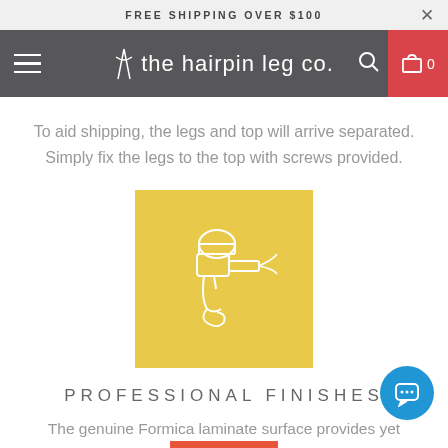FREE SHIPPING OVER $100
[Figure (logo): The Hairpin Leg Co. navigation bar with hamburger menu, logo, search icon, and cart button]
To aid shipping, the legs and top will arrive separated. Simply fix the legs to the top with screws provided.
[Figure (illustration): Yellow square background with white line drawing of a spray paint gun being used by a person]
PROFESSIONAL FINISHES
The genuine Formica laminate surface provides yet durable work surface.